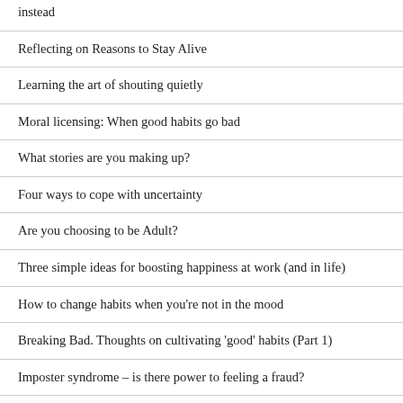instead
Reflecting on Reasons to Stay Alive
Learning the art of shouting quietly
Moral licensing: When good habits go bad
What stories are you making up?
Four ways to cope with uncertainty
Are you choosing to be Adult?
Three simple ideas for boosting happiness at work (and in life)
How to change habits when you're not in the mood
Breaking Bad. Thoughts on cultivating 'good' habits (Part 1)
Imposter syndrome – is there power to feeling a fraud?
Pay attention. Notes to self on what it means to actually listen.